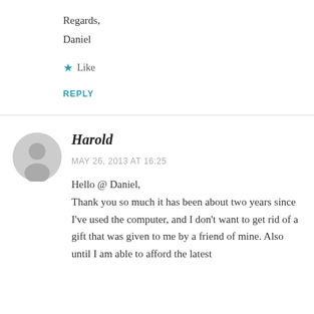Regards,
Daniel
★ Like
REPLY
Harold
MAY 26, 2013 AT 16:25
Hello @ Daniel,
Thank you so much it has been about two years since I've used the computer, and I don't want to get rid of a gift that was given to me by a friend of mine. Also until I am able to afford the latest